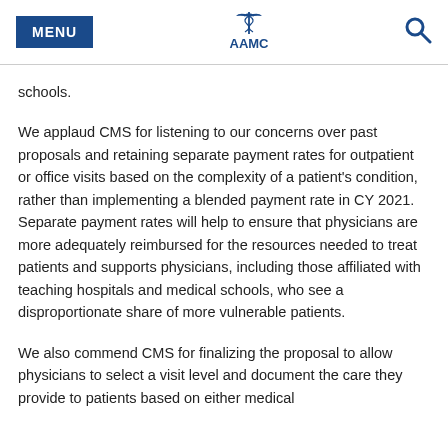MENU | AAMC | Search
schools.
We applaud CMS for listening to our concerns over past proposals and retaining separate payment rates for outpatient or office visits based on the complexity of a patient's condition, rather than implementing a blended payment rate in CY 2021. Separate payment rates will help to ensure that physicians are more adequately reimbursed for the resources needed to treat patients and supports physicians, including those affiliated with teaching hospitals and medical schools, who see a disproportionate share of more vulnerable patients.
We also commend CMS for finalizing the proposal to allow physicians to select a visit level and document the care they provide to patients based on either medical